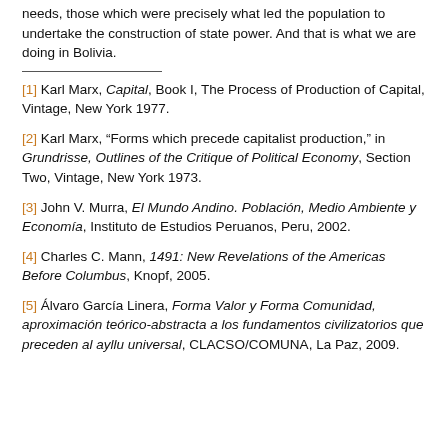needs, those which were precisely what led the population to undertake the construction of state power. And that is what we are doing in Bolivia.
[1] Karl Marx, Capital, Book I, The Process of Production of Capital, Vintage, New York 1977.
[2] Karl Marx, “Forms which precede capitalist production,” in Grundrisse, Outlines of the Critique of Political Economy, Section Two, Vintage, New York 1973.
[3] John V. Murra, El Mundo Andino. Población, Medio Ambiente y Economía, Instituto de Estudios Peruanos, Peru, 2002.
[4] Charles C. Mann, 1491: New Revelations of the Americas Before Columbus, Knopf, 2005.
[5] Álvaro García Linera, Forma Valor y Forma Comunidad, aproximación teórico-abstracta a los fundamentos civilizatorios que preceden al ayllu universal, CLACSO/COMUNA, La Paz, 2009.